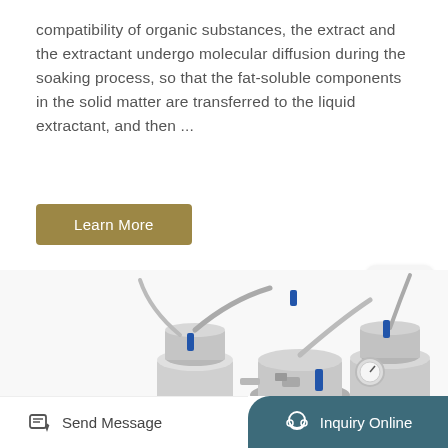compatibility of organic substances, the extract and the extractant undergo molecular diffusion during the soaking process, so that the fat-soluble components in the solid matter are transferred to the liquid extractant, and then ...
Learn More
[Figure (photo): Industrial extraction equipment: three stainless steel pressure vessels with blue-handled valves, flexible hoses, gauges, and fittings, shown from above against white background.]
TOP
Send Message
Inquiry Online